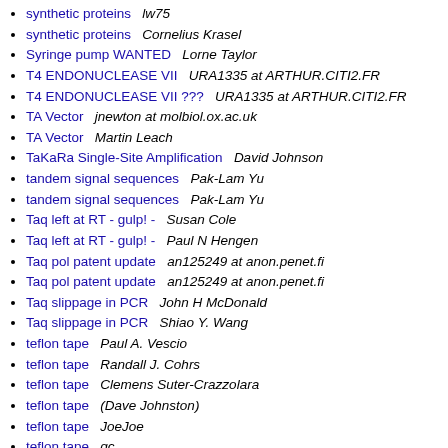synthetic proteins   lw75
synthetic proteins   Cornelius Krasel
Syringe pump WANTED   Lorne Taylor
T4 ENDONUCLEASE VII   URA1335 at ARTHUR.CITI2.FR
T4 ENDONUCLEASE VII ???   URA1335 at ARTHUR.CITI2.FR
TA Vector   jnewton at molbiol.ox.ac.uk
TA Vector   Martin Leach
TaKaRa Single-Site Amplification   David Johnson
tandem signal sequences   Pak-Lam Yu
tandem signal sequences   Pak-Lam Yu
Taq left at RT - gulp! -   Susan Cole
Taq left at RT - gulp! -   Paul N Hengen
Taq pol patent update   an125249 at anon.penet.fi
Taq pol patent update   an125249 at anon.penet.fi
Taq slippage in PCR   John H McDonald
Taq slippage in PCR   Shiao Y. Wang
teflon tape   Paul A. Vescio
teflon tape   Randall J. Cohrs
teflon tape   Clemens Suter-Crazzolara
teflon tape   (Dave Johnston)
teflon tape   JoeJoe
teflon tape   gc
teflon tape   H. Rochholz/H. Haas